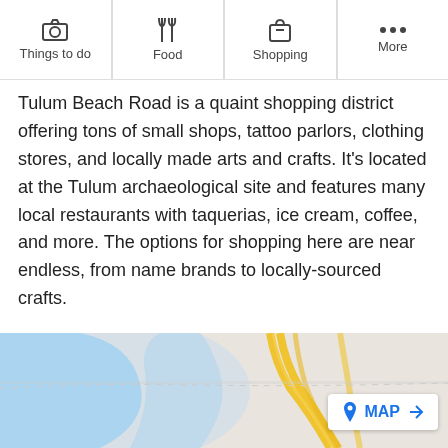Things to do | Food | Shopping | More
Tulum Beach Road is a quaint shopping district offering tons of small shops, tattoo parlors, clothing stores, and locally made arts and crafts. It's located at the Tulum archaeological site and features many local restaurants with taquerias, ice cream, coffee, and more. The options for shopping here are near endless, from name brands to locally-sourced crafts.
After you're done at the beach, this is a wonderful place for the entire family to spend an afternoon shopping for an ideal souvenir of their journey to Tulum. It's located about a 10-minute drive from central downtown Tulum, to the east.
[Figure (map): Partial map view showing roads and water features near Tulum, with a MAP button overlay in the bottom right corner.]